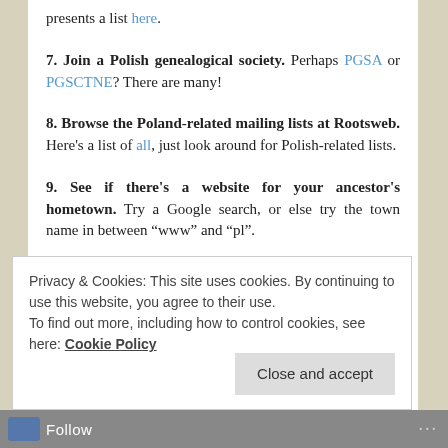presents a list here.
7. Join a Polish genealogical society.  Perhaps PGSA or PGSCTNE?  There are many!
8. Browse the Poland-related mailing lists at Rootsweb. Here's a list of all, just look around for Polish-related lists.
9. See if there's a website for your ancestor's hometown.  Try a Google search, or else try the town name in between “www” and “pl”.
Privacy & Cookies: This site uses cookies. By continuing to use this website, you agree to their use. To find out more, including how to control cookies, see here: Cookie Policy
Close and accept